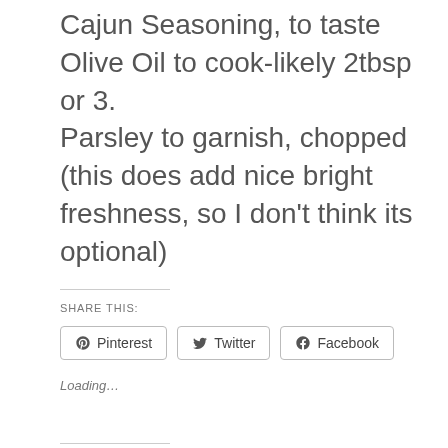Cajun Seasoning, to taste
Olive Oil to cook-likely 2tbsp or 3.
Parsley to garnish, chopped (this does add nice bright freshness, so I don't think its optional)
SHARE THIS:
Pinterest   Twitter   Facebook
Loading…
Related